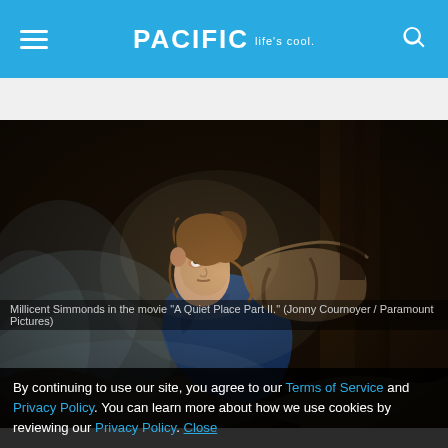PACIFIC Life's cool.
[Figure (photo): A young woman (Millicent Simmonds) in a blue long-sleeve shirt, looking upward dramatically while lying on bags/debris in a dark, smoky environment with wooden structures in the background. Still from 'A Quiet Place Part II'.]
Millicent Simmonds in the movie "A Quiet Place Part II." (Jonny Cournoyer / Paramount Pictures)
By continuing to use our site, you agree to our Terms of Service and Privacy Policy. You can learn more about how we use cookies by reviewing our Privacy Policy. Close